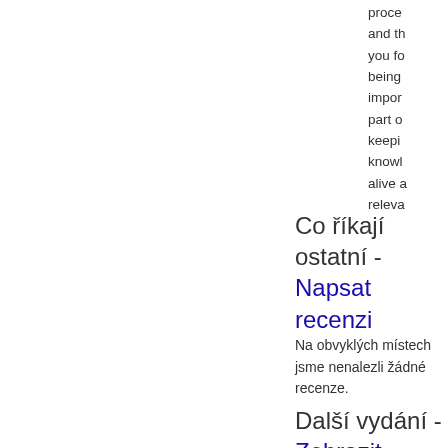proce and th you fo being impor part o keepi knowl alive a releva
Co říkají ostatní - Napsat recenzi
Na obvyklých místech jsme nenalezli žádné recenze.
Další vydání - Zobrazit